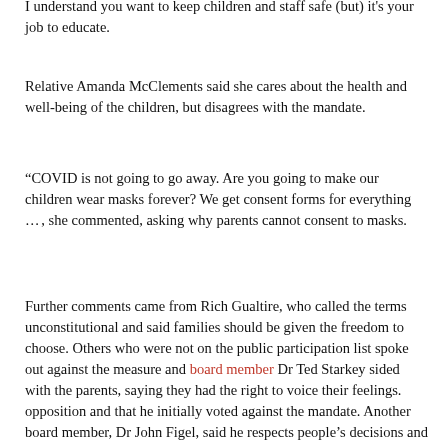I understand you want to keep children and staff safe (but) it's your job to educate.
Relative Amanda McClements said she cares about the health and well-being of the children, but disagrees with the mandate.
“COVID is not going to go away. Are you going to make our children wear masks forever? We get consent forms for everything …, she commented, asking why parents cannot consent to masks.
Further comments came from Rich Gualtire, who called the terms unconstitutional and said families should be given the freedom to choose. Others who were not on the public participation list spoke out against the measure and board member Dr Ted Starkey sided with the parents, saying they had the right to voice their feelings. opposition and that he initially voted against the mandate. Another board member, Dr John Figel, said he respects people’s decisions and the issue is not political.